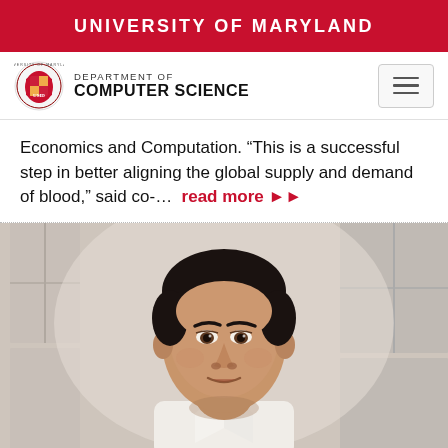UNIVERSITY OF MARYLAND
DEPARTMENT OF COMPUTER SCIENCE
Economics and Computation. “This is a successful step in better aligning the global supply and demand of blood,” said co-…  read more ▶▶
[Figure (photo): Headshot of a man with dark hair wearing a white shirt, photographed in front of a blurred building with large windows. Professional faculty portrait.]